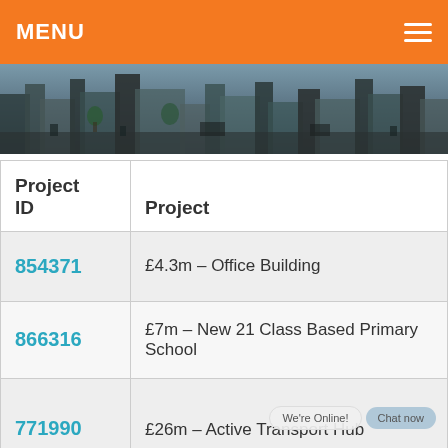MENU
[Figure (photo): Street-level cityscape photo showing urban buildings and pedestrians]
| Project ID | Project |
| --- | --- |
| 854371 | £4.3m – Office Building |
| 866316 | £7m – New 21 Class Based Primary School |
| 771990 | £26m – Active Transport Hub |